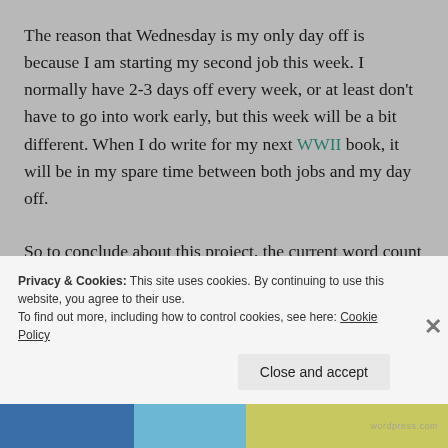The reason that Wednesday is my only day off is because I am starting my second job this week. I normally have 2-3 days off every week, or at least don't have to go into work early, but this week will be a bit different. When I do write for my next WWII book, it will be in my spare time between both jobs and my day off.
So to conclude about this project, the current word count sits a little shy of 24K words – which is more than halfway to my word count goal! Of course, this is just the first draft, but it is still great news that I am where I
Privacy & Cookies: This site uses cookies. By continuing to use this website, you agree to their use.
To find out more, including how to control cookies, see here: Cookie Policy
Close and accept